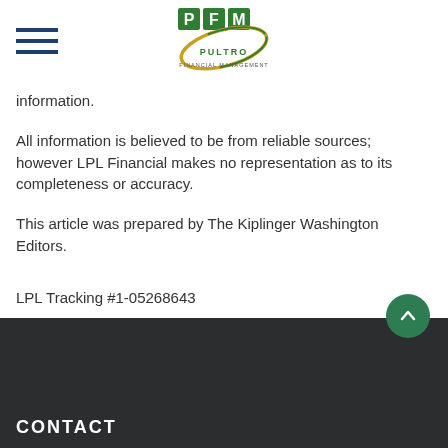[Figure (logo): Pultro Financial Management logo with PFM letters in green boxes and gold/green circular ring]
information.
All information is believed to be from reliable sources; however LPL Financial makes no representation as to its completeness or accuracy.
This article was prepared by The Kiplinger Washington Editors.
LPL Tracking #1-05268643
CONTACT